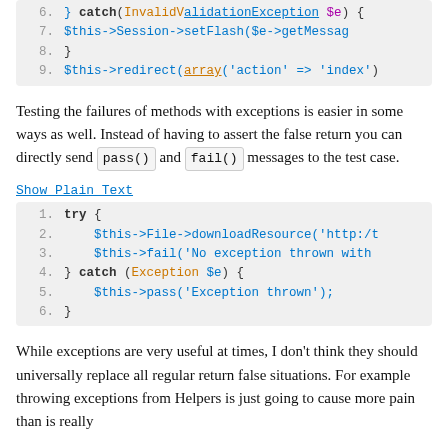[Figure (screenshot): Code block showing lines 6-9 of PHP code with syntax highlighting: catch(InvalidValidationException $e) {, $this->Session->setFlash($e->getMessage..., }, $this->redirect(array('action' => 'index'...]
Testing the failures of methods with exceptions is easier in some ways as well. Instead of having to assert the false return you can directly send pass() and fail() messages to the test case.
Show Plain Text
[Figure (screenshot): Code block showing 6 lines of PHP: try { $this->File->downloadResource('http:/... $this->fail('No exception thrown with... } catch (Exception $e) { $this->pass('Exception thrown'); }]
While exceptions are very useful at times, I don't think they should universally replace all regular return false situations. For example throwing exceptions from Helpers is just going to cause more pain than is really